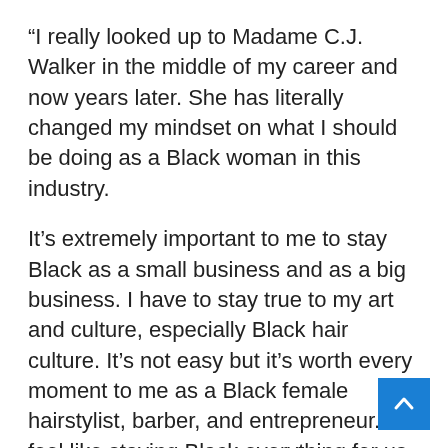“I really looked up to Madame C.J. Walker in the middle of my career and now years later. She has literally changed my mindset on what I should be doing as a Black woman in this industry.
It’s extremely important to me to stay Black as a small business and as a big business. I have to stay true to my art and culture, especially Black hair culture. It’s not easy but it’s worth every moment to me as a Black female hairstylist, barber, and entrepreneur. I feel like staying Black everything for us as a people is just as important then as it is now. What [Walker] believed in for Black women is what we see today and it continues to grow successfully. My favorite quote by her is: ‘Girls and women of our race must not be afraid to take hold of business endeavour and, by patient industry, close